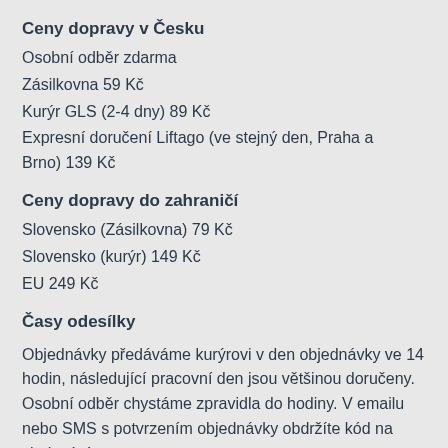Ceny dopravy v Česku
Osobní odběr zdarma
Zásilkovna 59 Kč
Kurýr GLS (2-4 dny) 89 Kč
Expresní doručení Liftago (ve stejný den, Praha a Brno) 139 Kč
Ceny dopravy do zahraničí
Slovensko (Zásilkovna) 79 Kč
Slovensko (kurýr) 149 Kč
EU 249 Kč
Časy odesílky
Objednávky předáváme kurýrovi v den objednávky ve 14 hodin, následující pracovní den jsou většinou doručeny. Osobní odběr chystáme zpravidla do hodiny. V emailu nebo SMS s potvrzením objednávky obdržíte kód na sledování